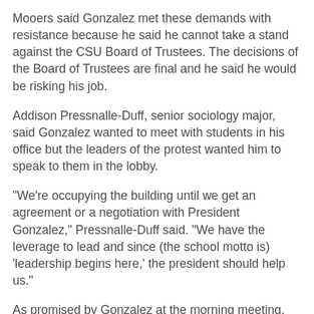Mooers said Gonzalez met these demands with resistance because he said he cannot take a stand against the CSU Board of Trustees. The decisions of the Board of Trustees are final and he said he would be risking his job.
Addison Pressnalle-Duff, senior sociology major, said Gonzalez wanted to meet with students in his office but the leaders of the protest wanted him to speak to them in the lobby.
"We're occupying the building until we get an agreement or a negotiation with President Gonzalez," Pressnalle-Duff said. "We have the leverage to lead and since (the school motto is) 'leadership begins here,' the president should help us."
As promised by Gonzalez at the morning meeting, Gonzalez issued a "President's Update" letter for students, faculty and staff. The letter was read aloud by two students to a crowd of 75 people.
"As it stands now, we continue to prepare for a $500 million reduction… and the plan is to accomplish that without